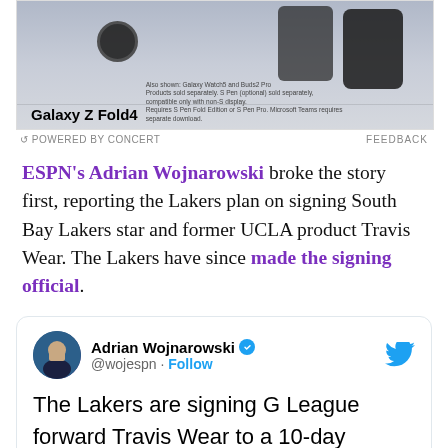[Figure (screenshot): Samsung Galaxy Z Fold4 advertisement banner with product image on dark background]
POWERED BY CONCERT   FEEDBACK
ESPN's Adrian Wojnarowski broke the story first, reporting the Lakers plan on signing South Bay Lakers star and former UCLA product Travis Wear. The Lakers have since made the signing official.
[Figure (screenshot): Tweet from Adrian Wojnarowski (@wojespn): The Lakers are signing G League forward Travis Wear to a 10-day contract, league source tells ESPN. 4:17 PM · Mar 2, 2018]